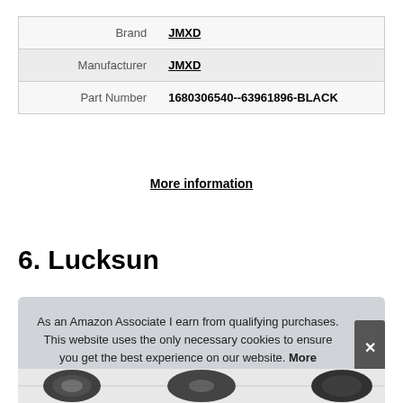|  |  |
| --- | --- |
| Brand | JMXD |
| Manufacturer | JMXD |
| Part Number | 1680306540--63961896-BLACK |
More information
6. Lucksun
As an Amazon Associate I earn from qualifying purchases. This website uses the only necessary cookies to ensure you get the best experience on our website. More information
[Figure (photo): Partial view of a product image at the bottom of the page]